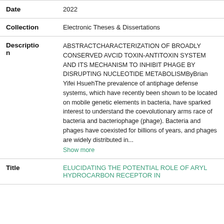| Field | Value |
| --- | --- |
| Date | 2022 |
| Collection | Electronic Theses & Dissertations |
| Description | ABSTRACTCHARACTERIZATION OF BROADLY CONSERVED AVCID TOXIN-ANTITOXIN SYSTEM AND ITS MECHANISM TO INHIBIT PHAGE BY DISRUPTING NUCLEOTIDE METABOLISMByBrian Yifei HsuehThe prevalence of antiphage defense systems, which have recently been shown to be located on mobile genetic elements in bacteria, have sparked interest to understand the coevolutionary arms race of bacteria and bacteriophage (phage). Bacteria and phages have coexisted for billions of years, and phages are widely distributed in... Show more |
| Title | ELUCIDATING THE POTENTIAL ROLE OF ARYL HYDROCARBON RECEPTOR IN... |